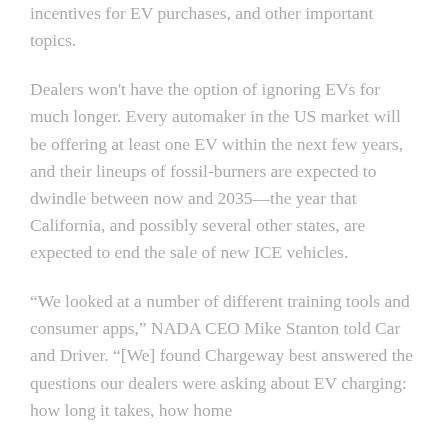incentives for EV purchases, and other important topics.
Dealers won't have the option of ignoring EVs for much longer. Every automaker in the US market will be offering at least one EV within the next few years, and their lineups of fossil-burners are expected to dwindle between now and 2035—the year that California, and possibly several other states, are expected to end the sale of new ICE vehicles.
“We looked at a number of different training tools and consumer apps,” NADA CEO Mike Stanton told Car and Driver. “[We] found Chargeway best answered the questions our dealers were asking about EV charging: how long it takes, how home